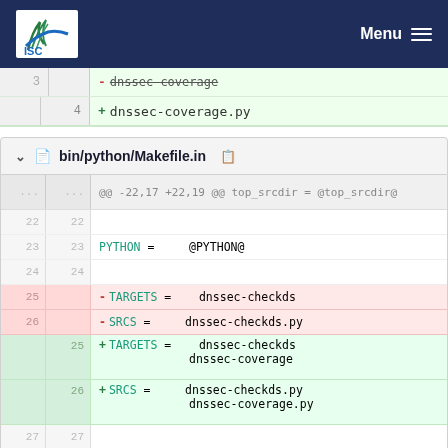ISC Menu
[Figure (screenshot): Top of a diff view showing line 3 (deleted: dnssec-coverage) and line 4 (added: dnssec-coverage.py) in green background]
bin/python/Makefile.in
[Figure (screenshot): Unified diff view for bin/python/Makefile.in showing changes: lines 25-26 removed TARGETS=dnssec-checkds and SRCS=dnssec-checkds.py, lines 25-26 added TARGETS=dnssec-checkds dnssec-coverage and SRCS=dnssec-checkds.py dnssec-coverage.py; lines 28-29 removed MANPAGES and HTMLPAGES, line 28 added MANPAGES=dnssec-checkds.8, partial line dnssec-coverage.8]